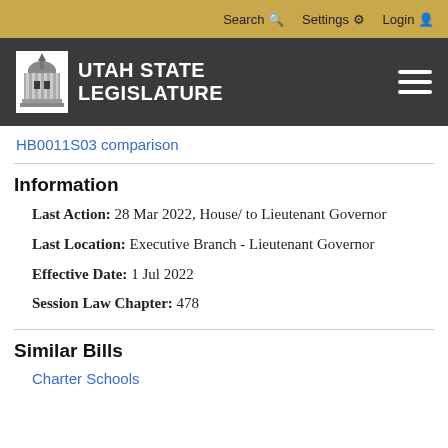Search  Settings  Login
[Figure (logo): Utah State Legislature logo with capitol building icon and text UTAH STATE LEGISLATURE]
HB0011S03 comparison
Information
Last Action: 28 Mar 2022, House/ to Lieutenant Governor
Last Location: Executive Branch - Lieutenant Governor
Effective Date: 1 Jul 2022
Session Law Chapter: 478
Similar Bills
Charter Schools